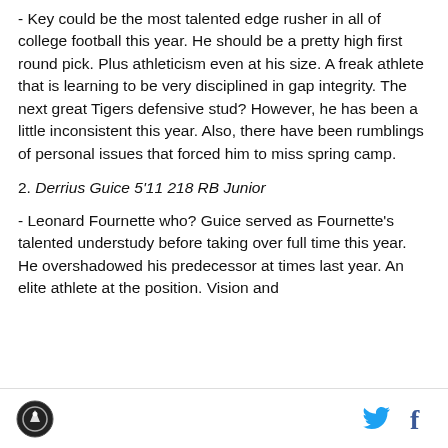- Key could be the most talented edge rusher in all of college football this year. He should be a pretty high first round pick. Plus athleticism even at his size. A freak athlete that is learning to be very disciplined in gap integrity. The next great Tigers defensive stud? However, he has been a little inconsistent this year. Also, there have been rumblings of personal issues that forced him to miss spring camp.
2. Derrius Guice 5'11 218 RB Junior
- Leonard Fournette who? Guice served as Fournette's talented understudy before taking over full time this year. He overshadowed his predecessor at times last year. An elite athlete at the position. Vision and